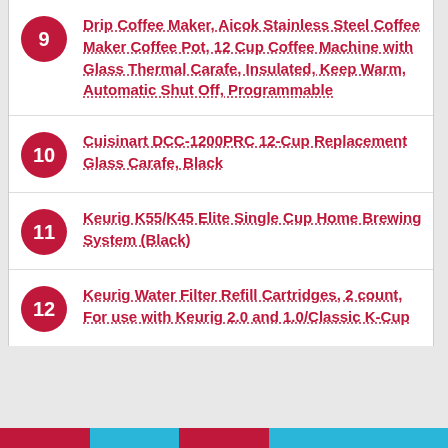9 Drip Coffee Maker, Aicok Stainless Steel Coffee Maker Coffee Pot, 12 Cup Coffee Machine with Glass Thermal Carafe, Insulated, Keep Warm, Automatic Shut Off, Programmable
10 Cuisinart DCC-1200PRC 12-Cup Replacement Glass Carafe, Black
11 Keurig K55/K45 Elite Single Cup Home Brewing System (Black)
12 Keurig Water Filter Refill Cartridges, 2 count, For use with Keurig 2.0 and 1.0/Classic K-Cup